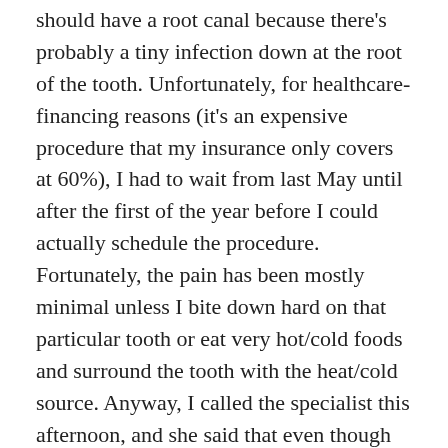should have a root canal because there's probably a tiny infection down at the root of the tooth. Unfortunately, for healthcare-financing reasons (it's an expensive procedure that my insurance only covers at 60%), I had to wait from last May until after the first of the year before I could actually schedule the procedure. Fortunately, the pain has been mostly minimal unless I bite down hard on that particular tooth or eat very hot/cold foods and surround the tooth with the heat/cold source. Anyway, I called the specialist this afternoon, and she said that even though it's been about nine months since she evaluated me, she didn't think she'd need to do a new evaluation, so next Thursday afternoon, I get to go up to Redwood Shores and have a root canal. Oh joy.
It's a shame she'll have to drill through a perfectly good gold cap to get at the tooth, but that's still better than